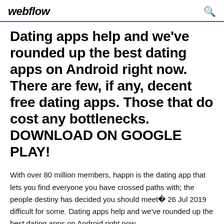webflow
Dating apps help and we've rounded up the best dating apps on Android right now. There are few, if any, decent free dating apps. Those that do cost any bottlenecks. DOWNLOAD ON GOOGLE PLAY!
With over 80 million members, happn is the dating app that lets you find everyone you have crossed paths with; the people destiny has decided you should meet� 26 Jul 2019 difficult for some. Dating apps help and we've rounded up the best dating apps on Android right now.